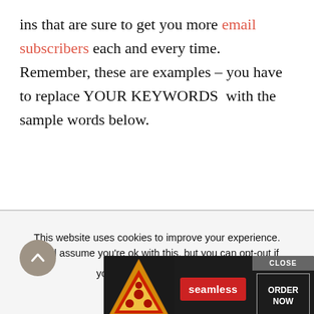ins that are sure to get you more email subscribers each and every time. Remember, these are examples – you have to replace YOUR KEYWORDS  with the sample words below.
Before you use your opt-in headline make sure you have an awesome lead mag… to go along…
[Figure (screenshot): Seamless food delivery advertisement banner with pizza image, red 'seamless' button, CLOSE button, and ORDER NOW button on dark background]
This website uses cookies to improve your experience. We'll assume you're ok with this, but you can opt-out if you wish.